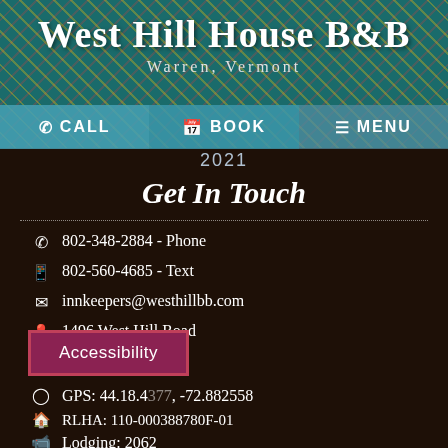West Hill House B&B
Warren, Vermont
📞 CALL   📅 BOOK   ☰ MENU
2021
Get In Touch
802-348-2884 - Phone
802-560-4685 - Text
innkeepers@westhillbb.com
1496 West Hill Road
Warren, VT 05674
GPS: 44.18.4377, -72.882558
RLHA: 110-000388780F-01
Lodging: 2062
Accessibility